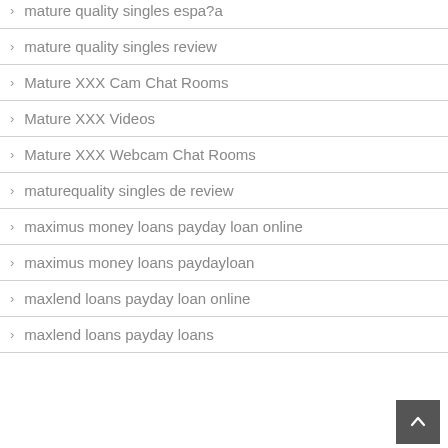mature quality singles espa?a
mature quality singles review
Mature XXX Cam Chat Rooms
Mature XXX Videos
Mature XXX Webcam Chat Rooms
maturequality singles de review
maximus money loans payday loan online
maximus money loans paydayloan
maxlend loans payday loan online
maxlend loans payday loans